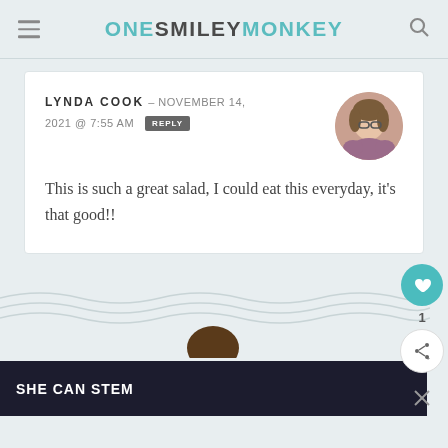ONE SMILEY MONKEY
LYNDA COOK – NOVEMBER 14, 2021 @ 7:55 AM REPLY
This is such a great salad, I could eat this everyday, it's that good!!
[Figure (photo): Circular avatar photo of a woman with glasses]
[Figure (photo): Partial head of a person visible at bottom, above dark ad strip]
SHE CAN STEM